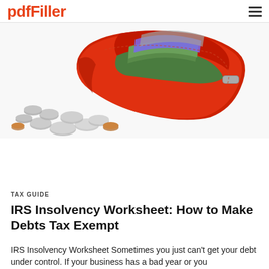pdfFiller
[Figure (photo): A red wallet overflowing with paper currency bills and coins scattered around it on a white background.]
TAX GUIDE
IRS Insolvency Worksheet: How to Make Debts Tax Exempt
IRS Insolvency Worksheet Sometimes you just can't get your debt under control. If your business has a bad year or you